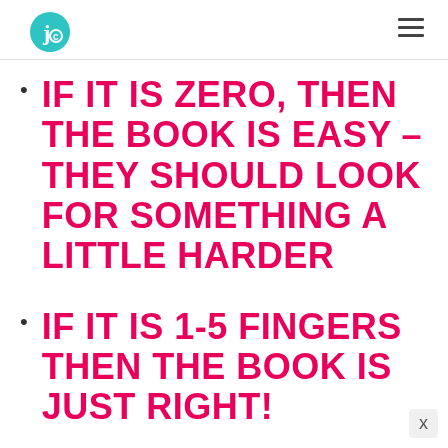IF IT IS ZERO, THEN THE BOOK IS EASY – THEY SHOULD LOOK FOR SOMETHING A LITTLE HARDER
IF IT IS 1-5 FINGERS THEN THE BOOK IS JUST RIGHT!